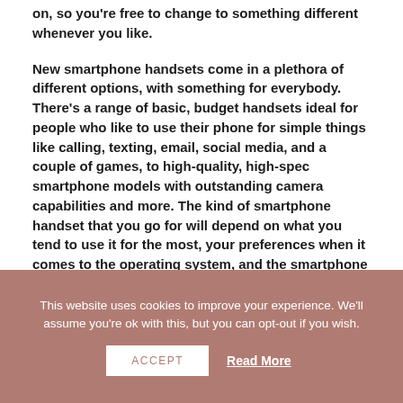on, so you're free to change to something different whenever you like.
New smartphone handsets come in a plethora of different options, with something for everybody. There's a range of basic, budget handsets ideal for people who like to use their phone for simple things like calling, texting, email, social media, and a couple of games, to high-quality, high-spec smartphone models with outstanding camera capabilities and more. The kind of smartphone handset that you go for will depend on what you tend to use it for the most, your preferences when it comes to the operating system, and the smartphone brands that you like.
This website uses cookies to improve your experience. We'll assume you're ok with this, but you can opt-out if you wish.